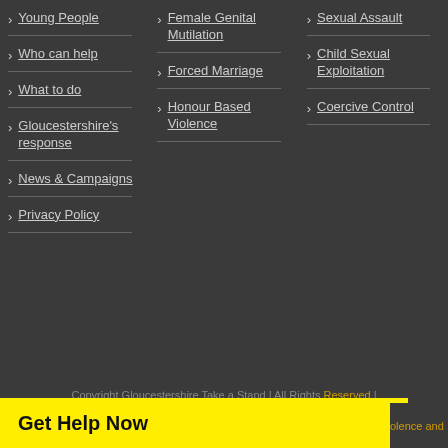Young People
Who can help
What to do
Gloucestershire's response
News & Campaigns
Privacy Policy
Female Genital Mutilation
Forced Marriage
Honour Based Violence
Sexual Assault
Child Sexual Exploitation
Coercive Control
Copyright Gloucestershire Take a Stand | All Rights Reserved | ...olence and
Get Help Now